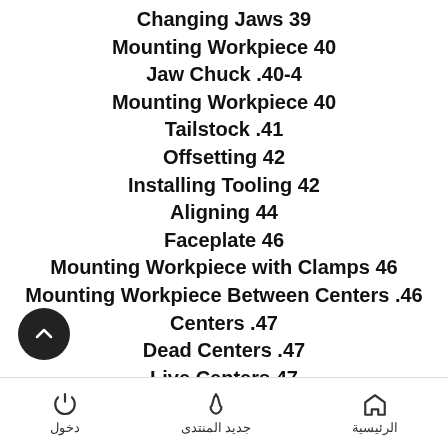Changing Jaws 39
Mounting Workpiece 40
Jaw Chuck .40-4
Mounting Workpiece 40
Tailstock .41
Offsetting 42
Installing Tooling 42
Aligning 44
Faceplate 46
Mounting Workpiece with Clamps 46
Mounting Workpiece Between Centers .46
Centers .47
Dead Centers .47
Live Centers 47
Mounting Center in Spindle .47
Removing Center from Spindle .47
دخول | جديد المنتدى | الرئيسية